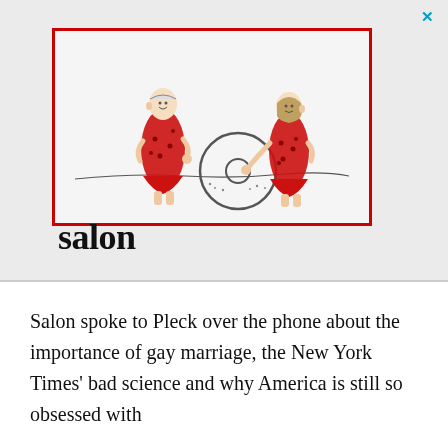[Figure (illustration): Cartoon illustration of two prehistoric/cave people in red spotted garments standing on either side of a large stone wheel on a sandy surface. One figure faces right, the other leans toward the wheel. Red border surrounds the image.]
salon
Salon spoke to Pleck over the phone about the importance of gay marriage, the New York Times' bad science and why America is still so obsessed with